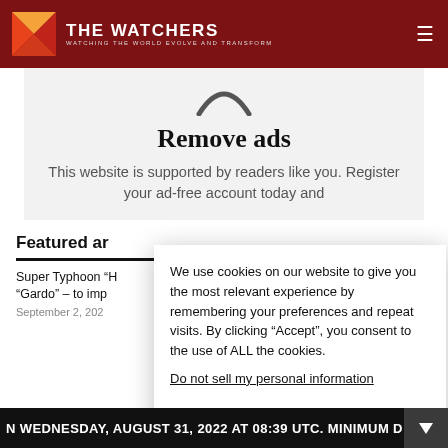THE WATCHERS — WATCHING THE WORLD EVOLVE AND TRANSFORM
Remove ads
This website is supported by readers like you. Register your ad-free account today and
We use cookies on our website to give you the most relevant experience by remembering your preferences and repeat visits. By clicking “Accept”, you consent to the use of ALL the cookies.
Do not sell my personal information.
Featured ar
Super Typhoon “H “Gardo” – to imp
September 2, 2022
N WEDNESDAY, AUGUST 31, 2022 AT 08:39 UTC. MINIMUM D